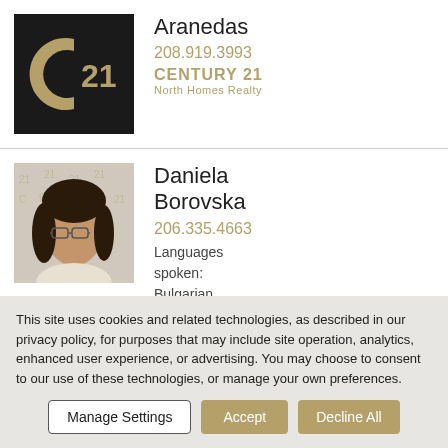[Figure (logo): Century 21 logo — black background with gold C21 emblem]
Aranedas
208.919.3993
CENTURY 21
North Homes Realty
[Figure (photo): Headshot photo of Daniela Borovska, a woman with dark hair and glasses, against a C21 logo backdrop]
Daniela Borovska
206.335.4663
Languages spoken: Bulgarian, English, Russian
CENTURY 21
This site uses cookies and related technologies, as described in our privacy policy, for purposes that may include site operation, analytics, enhanced user experience, or advertising. You may choose to consent to our use of these technologies, or manage your own preferences.